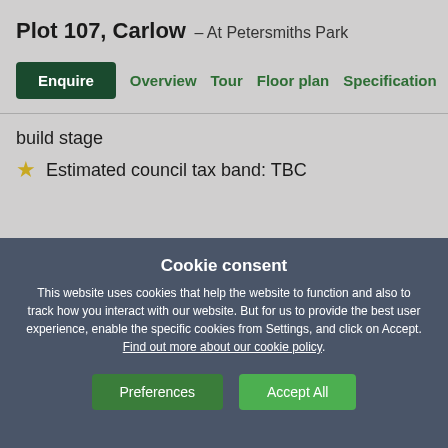Plot 107, Carlow – At Petersmiths Park
Enquire   Overview   Tour   Floor plan   Specification
build stage
Estimated council tax band: TBC
Cookie consent
This website uses cookies that help the website to function and also to track how you interact with our website. But for us to provide the best user experience, enable the specific cookies from Settings, and click on Accept. Find out more about our cookie policy.